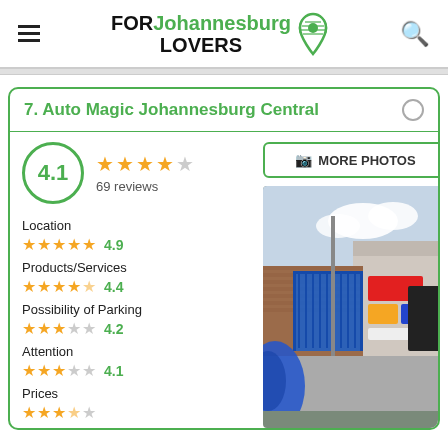FOR Johannesburg LOVERS
7. Auto Magic Johannesburg Central
4.1 — 69 reviews
Location 4.9
Products/Services 4.4
Possibility of Parking 4.2
Attention 4.1
Prices
[Figure (photo): Street-level photo of Auto Magic Johannesburg Central showing a brick building with blue fencing, signage visible, taken from a car mirror perspective.]